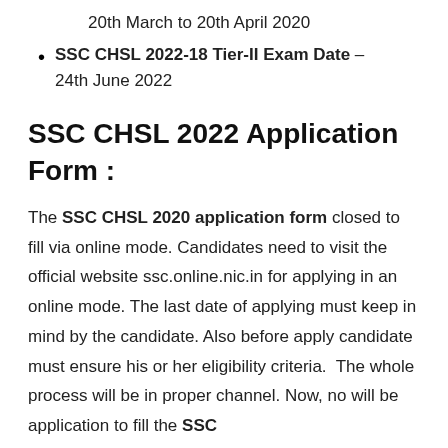20th March to 20th April 2020
SSC CHSL 2022-18 Tier-II Exam Date – 24th June 2022
SSC CHSL 2022 Application Form :
The SSC CHSL 2020 application form closed to fill via online mode. Candidates need to visit the official website ssc.online.nic.in for applying in an online mode. The last date of applying must keep in mind by the candidate. Also before apply candidate must ensure his or her eligibility criteria.  The whole process will be in proper channel. Now, no will be application to fill the SSC